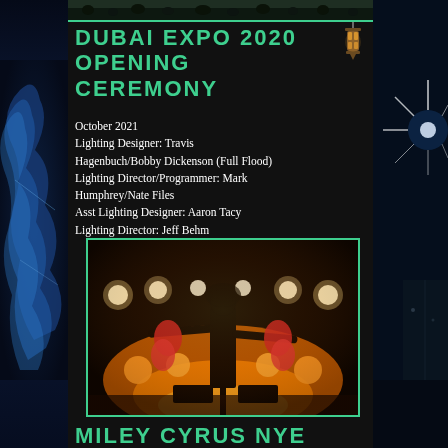[Figure (photo): Dark decorative left panel with blue swirl/flame design on dark background]
[Figure (photo): Top image strip showing crowd/event scene with teal border]
DUBAI EXPO 2020 OPENING CEREMONY
October  2021
Lighting Designer: Travis Hagenbuch/Bobby Dickenson (Full Flood)
Lighting Director/Programmer: Mark Humphrey/Nate Files
Asst Lighting Designer: Aaron Tacy
Lighting Director: Jeff Behm
[Figure (photo): Performance photo showing a singer silhouetted against bright orange/golden stage lights, surrounded by dancers and light rigs, with navigation arrows on sides]
MILEY CYRUS NYE